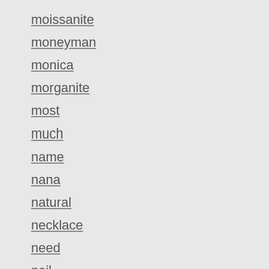moissanite
moneyman
monica
morganite
most
much
name
nana
natural
necklace
need
neil